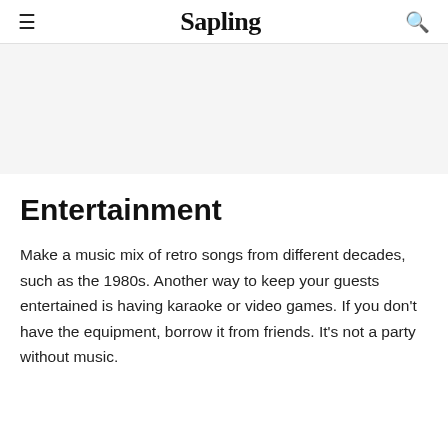≡ Sapling 🔍
[Figure (other): Gray advertisement banner area]
Entertainment
Make a music mix of retro songs from different decades, such as the 1980s. Another way to keep your guests entertained is having karaoke or video games. If you don't have the equipment, borrow it from friends. It's not a party without music.